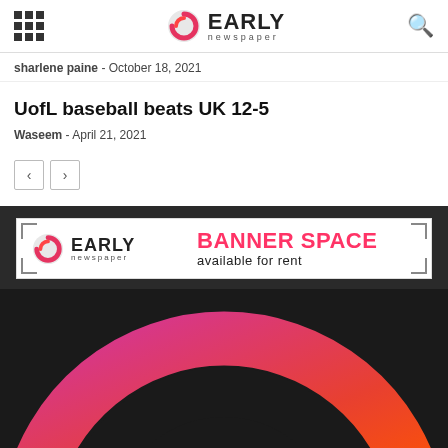EARLY newspaper
sharlene paine - October 18, 2021
UofL baseball beats UK 12-5
Waseem - April 21, 2021
[Figure (screenshot): Pagination buttons with left and right arrows]
[Figure (screenshot): Early Newspaper banner ad: EARLY newspaper logo on left, BANNER SPACE available for rent text on right in red/pink]
[Figure (logo): Large Early Newspaper arc logo graphic on dark background, showing gradient arc from magenta to orange-red on dark charcoal background]